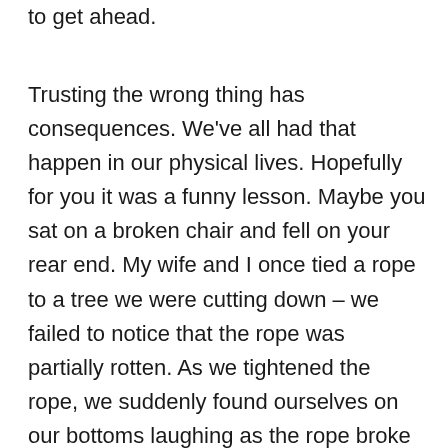to get ahead.
Trusting the wrong thing has consequences. We’ve all had that happen in our physical lives. Hopefully for you it was a funny lesson. Maybe you sat on a broken chair and fell on your rear end. My wife and I once tied a rope to a tree we were cutting down – we failed to notice that the rope was partially rotten. As we tightened the rope, we suddenly found ourselves on our bottoms laughing as the rope broke while we were pulling for all we were worth. That was an easy lesson. God warns us that the lesson